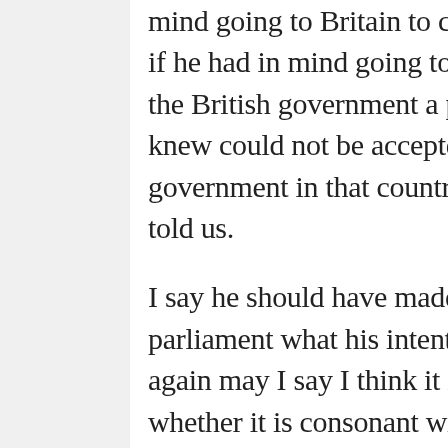mind going to Britain to coerce that country; if he had in mind going to Britain to put bo the British government a proposal which he knew could not be accepted by any government in that country he should have told us.
I say he should have made known to parliament what his intentions were, and here again may I say I think it is worth considering whether it is consonant with procedure under British parliamentary institutions for any individual or for that matter any cabinet to promote policies with respect to great imperial matters, policies that affect the whole future and development of